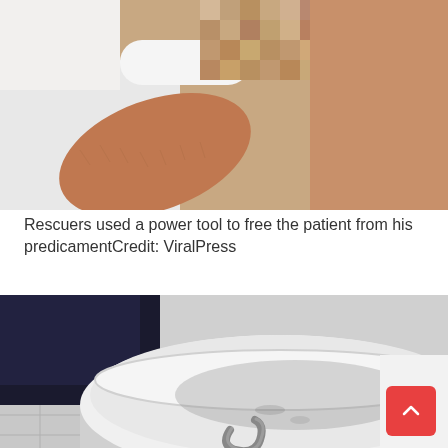[Figure (photo): Close-up photo of a medical/rescue scene showing a person's arm or limb with a white bandage or glove, with part of the image pixelated/blurred. A patient is being treated.]
Rescuers used a power tool to free the patient from his predicamentCredit: ViralPress
[Figure (photo): Close-up photo showing a person's leg/foot stuck in or near a white toilet bowl, with a metal hook or piece of hardware visible at the bottom of the toilet.]